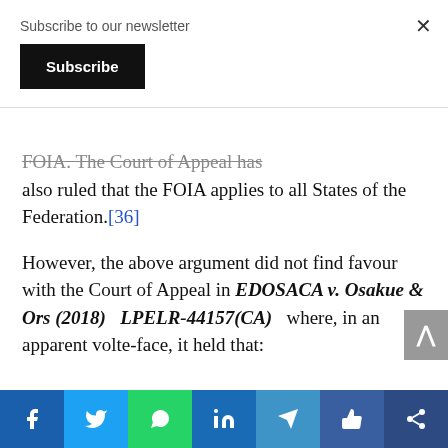Subscribe to our newsletter
Subscribe
FOIA. The Court of Appeal has also ruled that the FOIA applies to all States of the Federation.[36]
However, the above argument did not find favour with the Court of Appeal in EDOSACA v. Osakue & Ors (2018) LPELR-44157(CA) where, in an apparent volte-face, it held that: